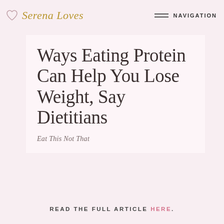Serena Loves  NAVIGATION
Ways Eating Protein Can Help You Lose Weight, Say Dietitians
Eat This Not That
READ THE FULL ARTICLE HERE.